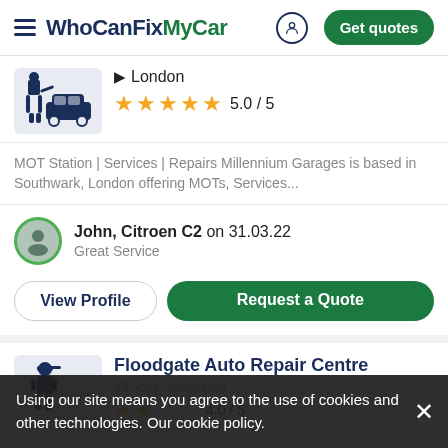WhoCanFixMyCar — Get quotes
London
5.0 / 5
MOT Station | Services | Repairs Millennium Garages is based in Southwark, London offering MOTs, Services...
John, Citroen C2 on 31.03.22
Great Service
View Profile
Request a Quote
Floodgate Auto Repair Centre
49 Jobs Completed
4.0 / 5
Using our site means you agree to the use of cookies and other technologies. Our cookie policy.